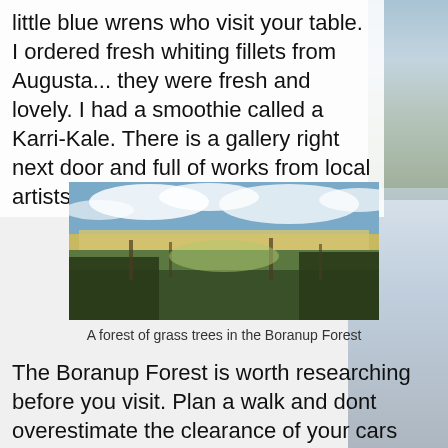little blue wrens who visit your table. I ordered fresh whiting fillets from Augusta... they were fresh and lovely. I had a smoothie called a Karri-Kale. There is a gallery right next door and full of works from local artists.
[Figure (photo): A panoramic landscape photo showing a forest of grass trees under a partly cloudy blue sky in the Boranup Forest.]
A forest of grass trees in the Boranup Forest
The Boranup Forest is worth researching before you visit. Plan a walk and dont overestimate the clearance of your cars undercarriage. Or underestimate the pain you experience when you have driven down a track and now find the dense bush/heath scratching the side of your car and ruining the beautiful duco! I did that once, found myself wedged on the track, realising that, that horrible screetching sound was going to sound just as bad as I reversed out!!! Yuck. Runs shivers up my spine just thinking about it. That stuff is not called 'buggery bush' for nothing! (Apologies to the sensitive - bush slang) (Officially Golden Glow Wattle